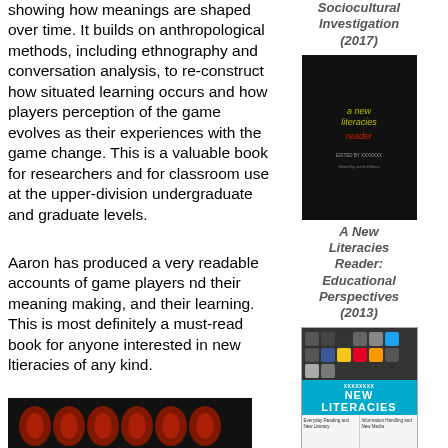showing how meanings are shaped over time. It builds on anthropological methods, including ethnography and conversation analysis, to re-construct how situated learning occurs and how players perception of the game evolves as their experiences with the game change. This is a valuable book for researchers and for classroom use at the upper-division undergraduate and graduate levels.
[Figure (photo): Book cover: A New Literacies Reader: Educational Perspectives (dark background with yellow and red italic text)]
Sociocultural Investigation (2017)
A New Literacies Reader: Educational Perspectives (2013)
Aaron has produced a very readable accounts of game players nd their meaning making, and their learning. This is most definitely a must-read book for anyone interested in new ltieracies of any kind.
[Figure (photo): New Literacies book cover with social media icons and blue banner]
[Figure (photo): Dark image with red circular shapes at bottom of left column]
New Literacies: